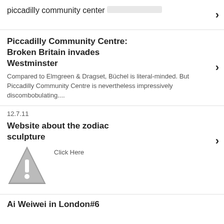piccadilly community center
Piccadilly Community Centre: Broken Britain invades Westminster
Compared to Elmgreen & Dragset, Büchel is literal-minded. But Piccadilly Community Centre is nevertheless impressively discombobulating....
12.7.11
Website about the zodiac sculpture
Click Here
[Figure (illustration): Warning triangle icon with exclamation mark]
Ai Weiwei in London#6